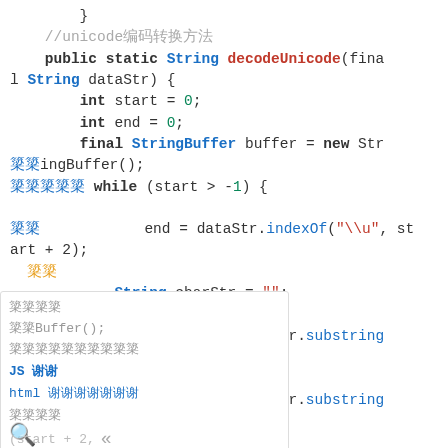Java code snippet showing decodeUnicode method with sidebar overlay containing navigation items.